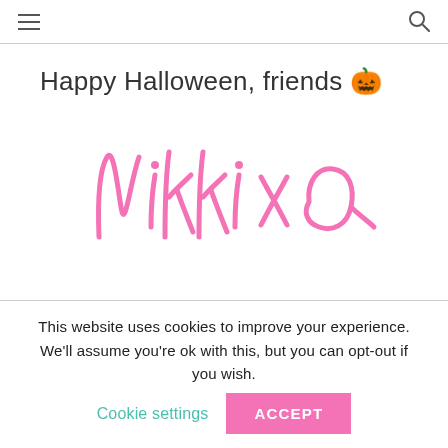≡  🔍
Happy Halloween, friends 🎃
[Figure (illustration): Handwritten pink cursive signature reading 'Nikki xo']
This website uses cookies to improve your experience. We'll assume you're ok with this, but you can opt-out if you wish. Cookie settings  ACCEPT